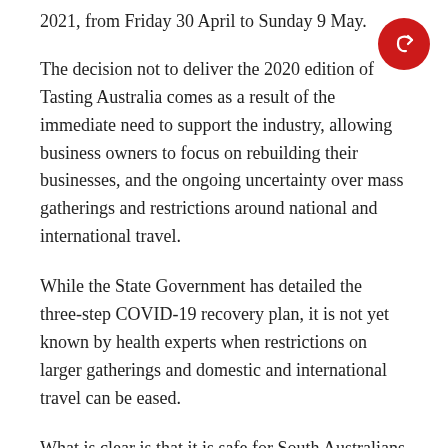2021, from Friday 30 April to Sunday 9 May.
[Figure (other): Red circular share/forward button icon]
The decision not to deliver the 2020 edition of Tasting Australia comes as a result of the immediate need to support the industry, allowing business owners to focus on rebuilding their businesses, and the ongoing uncertainty over mass gatherings and restrictions around national and international travel.
While the State Government has detailed the three-step COVID-19 recovery plan, it is not yet known by health experts when restrictions on larger gatherings and domestic and international travel can be eased.
What is clear is that it is safe for South Australians